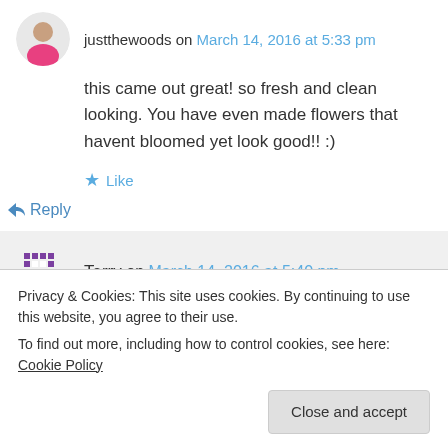justthewoods on March 14, 2016 at 5:33 pm
this came out great! so fresh and clean looking. You have even made flowers that havent bloomed yet look good!! :)
Like
Reply
Terry on March 14, 2016 at 5:40 pm
a little ‘cute”! Thank you for popping in! I
Privacy & Cookies: This site uses cookies. By continuing to use this website, you agree to their use.
To find out more, including how to control cookies, see here: Cookie Policy
Close and accept